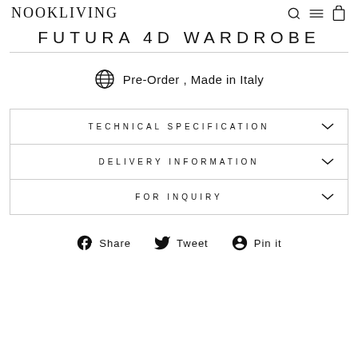NOOKLIVING
FUTURA 4D WARDROBE
Pre-Order , Made in Italy
TECHNICAL SPECIFICATION
DELIVERY INFORMATION
FOR INQUIRY
Share  Tweet  Pin it